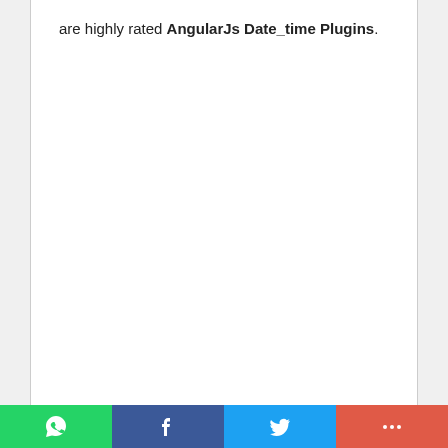are highly rated AngularJs Date_time Plugins.
[Figure (other): Social share bar with WhatsApp, Facebook, Twitter, and More (+) buttons]